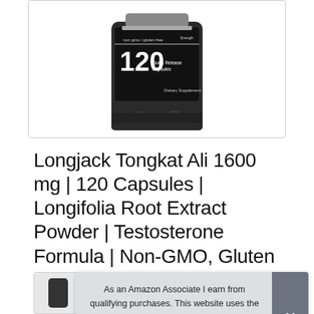[Figure (photo): Product photo of a dark bottle with label showing '120 Quick Release Capsules', 'non gmo / gluten free', 'Strength', 'Dietary Supplement']
Longjack Tongkat Ali 1600 mg | 120 Capsules | Longifolia Root Extract Powder | Testosterone Formula | Non-GMO, Gluten Free | by Horbaach
#ad
As an Amazon Associate I earn from qualifying purchases. This website uses the only necessary cookies to ensure you get the best experience on our website. More information
[Figure (photo): Thumbnail strip of product images at the bottom of the page]